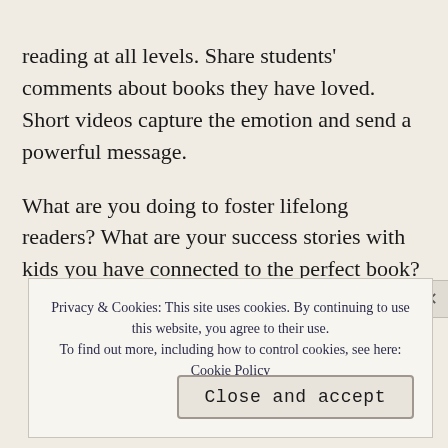reading at all levels. Share students' comments about books they have loved.  Short videos capture the emotion and send a powerful message.
What are you doing to foster lifelong readers? What are your success stories with kids you have connected to the perfect book?
Privacy & Cookies: This site uses cookies. By continuing to use this website, you agree to their use.
To find out more, including how to control cookies, see here: Cookie Policy
Close and accept